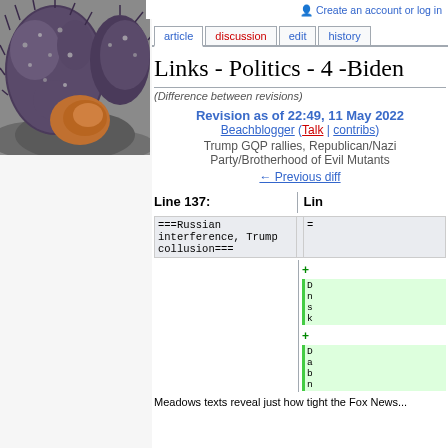[Figure (photo): Photo of purple/brown sea urchins or similar marine creatures on rocks]
Create an account or log in
article | discussion | edit | history
Links - Politics - 4 -Biden
(Difference between revisions)
Revision as of 22:49, 11 May 2022
Beachblogger (Talk | contribs)
Trump GQP rallies, Republican/Nazi Party/Brotherhood of Evil Mutants
← Previous diff
Line 137:
===Russian interference, Trump collusion===
+ (truncated new content lines)
Meadows texts reveal just how tight the Fox News...